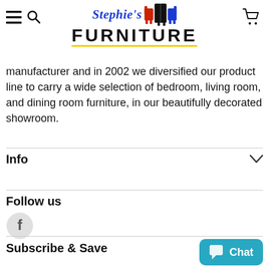Stephie's FURNITURE — navigation header with hamburger menu, search icon, logo, and cart icon
manufacturer and in 2002 we diversified our product line to carry a wide selection of bedroom, living room, and dining room furniture, in our beautifully decorated showroom.
Info
Follow us
[Figure (logo): Facebook circular icon with 'f' letter]
Subscribe & Save
[Figure (other): Chat button widget in teal/cyan color with chat bubble icon and 'Chat' text]